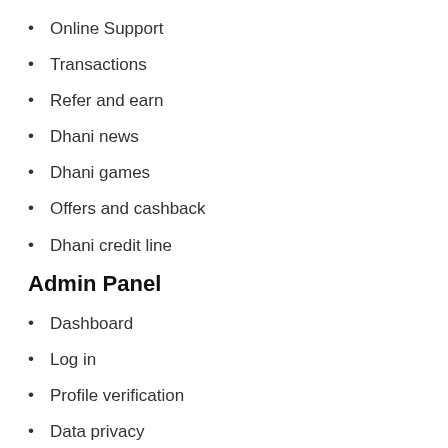Online Support
Transactions
Refer and earn
Dhani news
Dhani games
Offers and cashback
Dhani credit line
Admin Panel
Dashboard
Log in
Profile verification
Data privacy